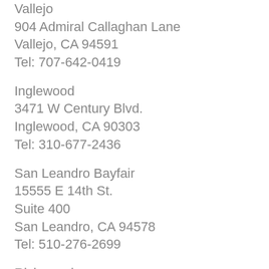Vallejo
904 Admiral Callaghan Lane
Vallejo, CA 94591
Tel: 707-642-0419
Inglewood
3471 W Century Blvd.
Inglewood, CA 90303
Tel: 310-677-2436
San Leandro Bayfair
15555 E 14th St.
Suite 400
San Leandro, CA 94578
Tel: 510-276-2699
Richmond
4500 Macdonald Ave.
Richmond, CA 94805
Tel: 510-253-1000
Albany